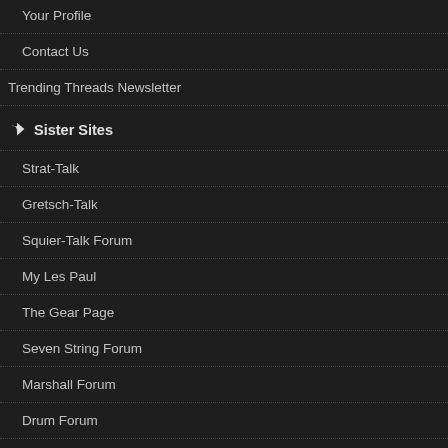Your Profile
Contact Us
Trending Threads Newsletter
Sister Sites
Strat-Talk
Gretsch-Talk
Squier-Talk Forum
My Les Paul
The Gear Page
Seven String Forum
Marshall Forum
Drum Forum
Everything SG
Epiphone Talk